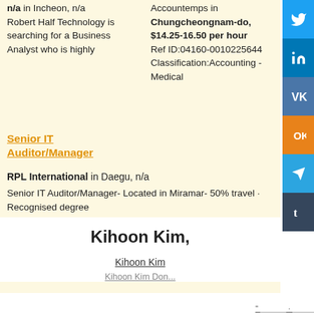n/a in Incheon, n/a
Robert Half Technology is searching for a Business Analyst who is highly
Accountemps in Chungcheongnam-do, $14.25-16.50 per hour
Ref ID:04160-0010225644
Classification:Accounting - Medical
Senior IT Auditor/Manager
RPL International in Daegu, n/a
Senior IT Auditor/Manager- Located in Miramar- 50% travel · Recognised degree
!
Kihoon Kim,
Kihoon Kim
Kihoon Kim Don...